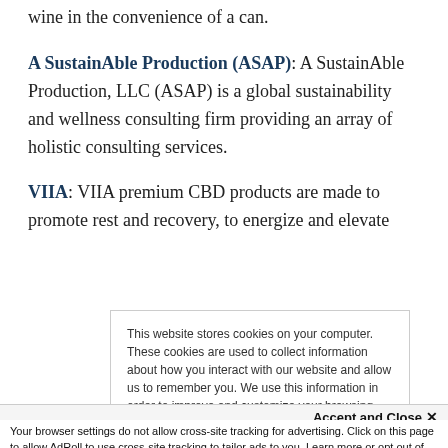Just Enough Wines: High quality, great tasting wine in the convenience of a can.
A SustainAble Production (ASAP): A SustainAble Production, LLC (ASAP) is a global sustainability and wellness consulting firm providing an array of holistic consulting services.
VIIA: VIIA premium CBD products are made to promote rest and recovery, to energize and elevate
This website stores cookies on your computer. These cookies are used to collect information about how you interact with our website and allow us to remember you. We use this information in order to improve and customize your browsing experience and for analytics and metrics about our visitors both on this website and other media. To find out more about the cookies we use, see our Privacy Policy
Accept and Close ✕
Your browser settings do not allow cross-site tracking for advertising. Click on this page to allow AdRoll to use cross-site tracking to tailor ads to you. Learn more or opt out of this AdRoll tracking by clicking here. This message only appears once.